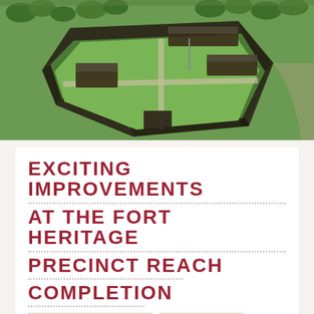[Figure (photo): Aerial view of Fort Heritage Precinct showing a fortified compound with dark wooden walls forming a roughly square perimeter, several long buildings inside, green grass, and surrounding trees and fields.]
EXCITING IMPROVEMENTS AT THE FORT HERITAGE PRECINCT REACH COMPLETION
Posted on May 29, 2018
Press Release